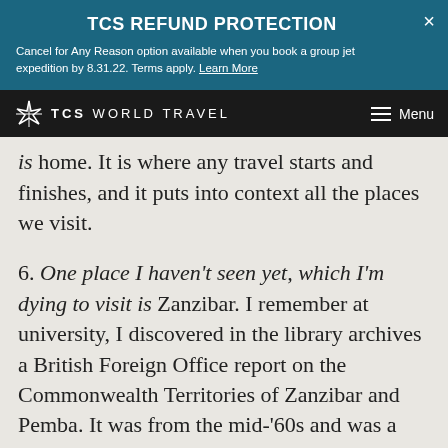TCS REFUND PROTECTION
Cancel for Any Reason option available when you book a group jet expedition by 8.31.22. Terms apply. Learn More
TCS WORLD TRAVEL  Menu
is home. It is where any travel starts and finishes, and it puts into context all the places we visit.
6. One place I haven't seen yet, which I'm dying to visit is Zanzibar. I remember at university, I discovered in the library archives a British Foreign Office report on the Commonwealth Territories of Zanzibar and Pemba. It was from the mid-'60s and was a compendium of everything that happened on the islands in the preceding year. I was